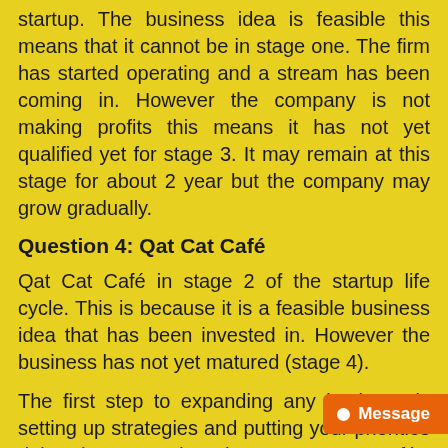startup. The business idea is feasible this means that it cannot be in stage one. The firm has started operating and a stream has been coming in. However the company is not making profits this means it has not yet qualified yet for stage 3. It may remain at this stage for about 2 year but the company may grow gradually.
Question 4: Qat Cat Café
Qat Cat Café in stage 2 of the startup life cycle. This is because it is a feasible business idea that has been invested in. However the business has not yet matured (stage 4).
The first step to expanding any business is setting up strategies and putting your priorities right (EY, 2015). The Qat Cat Café's management should also increase the number of services it provides for example it can start serving full-course meals. It can also open up branches all over Qatar. The partners can also hire an exp